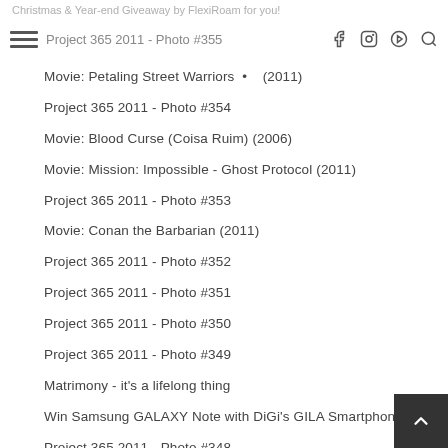Christmas & Year-end Giveaway by FlexiRoam for you! | Project 365 2011 - Photo #355
Movie: Petaling Street Warriors • (2011)
Project 365 2011 - Photo #354
Movie: Blood Curse (Coisa Ruim) (2006)
Movie: Mission: Impossible - Ghost Protocol (2011)
Project 365 2011 - Photo #353
Movie: Conan the Barbarian (2011)
Project 365 2011 - Photo #352
Project 365 2011 - Photo #351
Project 365 2011 - Photo #350
Project 365 2011 - Photo #349
Matrimony - it's a lifelong thing
Win Samsung GALAXY Note with DiGi's GILA Smartphon...
Project 365 2011 - Photo #348
7 songs with stories
Project 365 2011 - Photo #347
Project 365 2011 - Photo #346
Project 365 2011 - Photo #345
Project 365 2011 - Photo #344